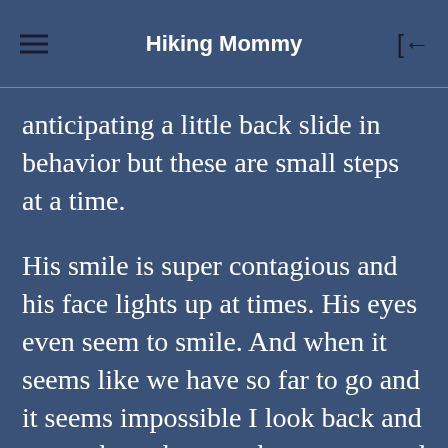Hiking Mommy
anticipating a little back slide in behavior but these are small steps at a time.
His smile is super contagious and his face lights up at times. His eyes even seem to smile. And when it seems like we have so far to go and it seems impossible I look back and remember where we have come and how well and